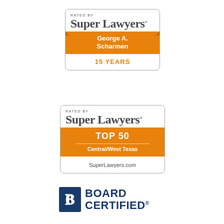[Figure (logo): Super Lawyers badge for George A. Scharmen, 15 Years]
[Figure (logo): Super Lawyers Top 50 Central/West Texas badge, SuperLawyers.com]
[Figure (logo): Board Certified logo with stylized C icon and bold blue BOARD CERTIFIED text]